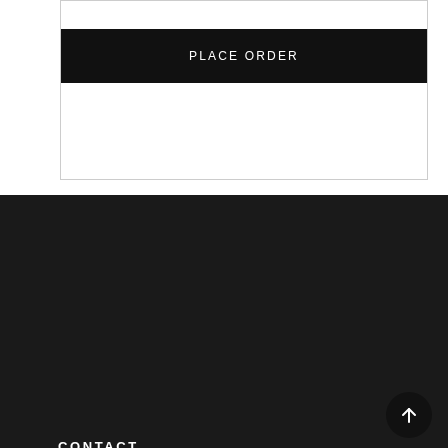PLACE ORDER
CONTACT
Middle Street
Taunton
TA1 1SH
Tel. +44 1823 53 52 51